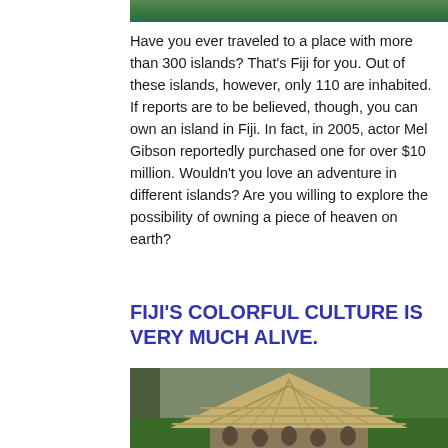[Figure (photo): Top portion of a tropical/Fiji photo showing green vegetation and water]
Have you ever traveled to a place with more than 300 islands? That's Fiji for you. Out of these islands, however, only 110 are inhabited. If reports are to be believed, though, you can own an island in Fiji. In fact, in 2005, actor Mel Gibson reportedly purchased one for over $10 million. Wouldn't you love an adventure in different islands? Are you willing to explore the possibility of owning a piece of heaven on earth?
FIJI'S COLORFUL CULTURE IS VERY MUCH ALIVE.
[Figure (photo): Traditional Fijian thatched-roof bure (hut) with palm trees in background and people standing in front]